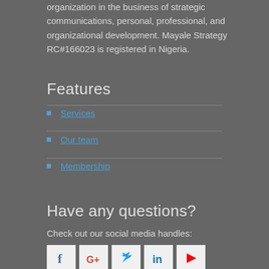organization in the business of strategic communications, personal, professional, and organizational development. Mayale Strategy RC#166023 is registered in Nigeria.
Features
Services
Our team
Membership
Have any questions?
Check out our social media handles:
[Figure (other): Social media icons: Facebook, Google+, Twitter, LinkedIn, and another platform]